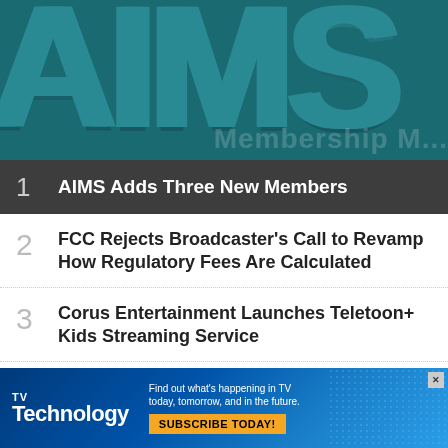[Figure (logo): Large AIMS logo text in teal/dark teal on dark teal background, partially cropped. Text reads 'AIMS' in very large bold letters.]
1 AIMS Adds Three New Members
2 FCC Rejects Broadcaster's Call to Revamp How Regulatory Fees Are Calculated
3 Corus Entertainment Launches Teletoon+ Kids Streaming Service
4 Scripps Hires Lori Jane Gliha as National Investigative Correspondent
[Figure (advertisement): TVTechnology advertisement banner. Blue gradient background with dot pattern. Logo reads 'TVTechnology'. Tagline: 'Find out what's happening in TV today, tomorrow, and in the future.' Button: 'SUBSCRIBE TODAY!']